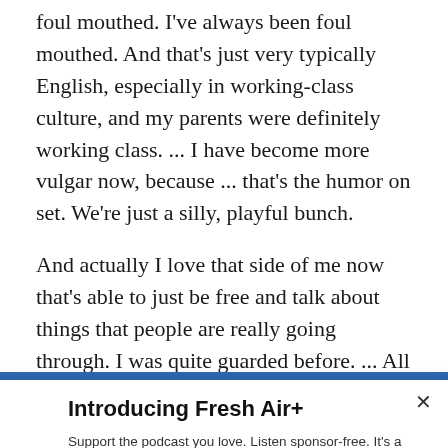foul mouthed. I've always been foul mouthed. And that's just very typically English, especially in working-class culture, and my parents were definitely working class. ... I have become more vulgar now, because ... that's the humor on set. We're just a silly, playful bunch.
And actually I love that side of me now that's able to just be free and talk about things that people are really going through. I was quite guarded before. ... All the [Queer Eye] boys will say I'm the most bounded person they know. If I
Introducing Fresh Air+
Support the podcast you love. Listen sponsor-free. It's a win-win in the world of Fresh Air+. Sign up today for just $2.99 per month.
SUBSCRIBE